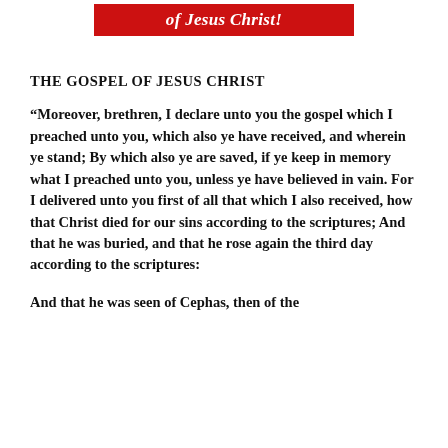of Jesus Christ!
THE GOSPEL OF JESUS CHRIST
“Moreover, brethren, I declare unto you the gospel which I preached unto you, which also ye have received, and wherein ye stand; By which also ye are saved, if ye keep in memory what I preached unto you, unless ye have believed in vain. For I delivered unto you first of all that which I also received, how that Christ died for our sins according to the scriptures; And that he was buried, and that he rose again the third day according to the scriptures:
And that he was seen of Cephas, then of the